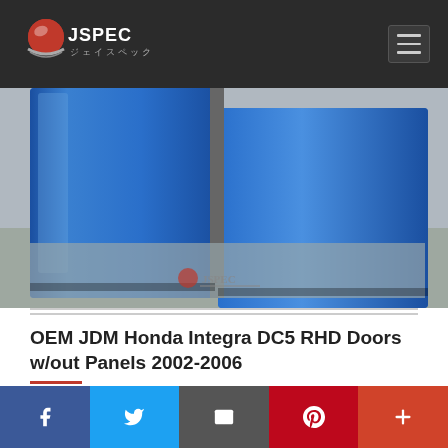JSpec Auto - navigation header with logo and hamburger menu
[Figure (photo): Blue JDM Honda Integra DC5 RHD front doors without panels, shown leaning against a wall on a concrete floor]
OEM JDM Honda Integra DC5 RHD Doors w/out Panels 2002-2006
On sale now is a set of front doors from a JDM Honda Integra DC5. These are from a RHD car...
Social share bar: Facebook, Twitter, Email, Pinterest, More